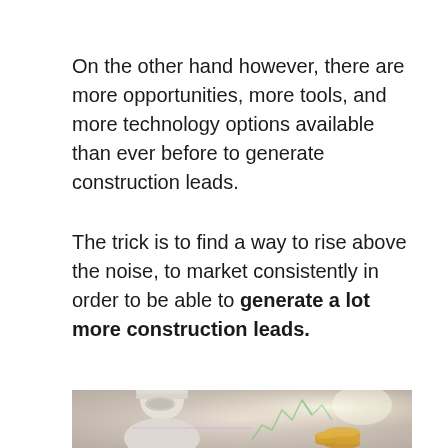On the other hand however, there are more opportunities, more tools, and more technology options available than ever before to generate construction leads.
The trick is to find a way to rise above the noise, to market consistently in order to be able to generate a lot more construction leads.
[Figure (photo): A white/pale mannequin-like figure wearing a hard hat, looking down, with glowing digital elements and stacked coins visible in the background. Soft warm tones with light flares.]